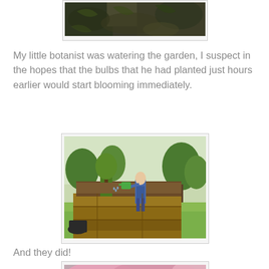[Figure (photo): Partial view of a garden bed with dark soil, leaves and plants visible from above]
My little botanist was watering the garden, I suspect in the hopes that the bulbs that he had planted just hours earlier would start blooming immediately.
[Figure (photo): A young child watering a raised wooden garden bed in a backyard with trees in the background]
And they did!
[Figure (photo): Close-up of pink flowers blooming, partial view at bottom of page]